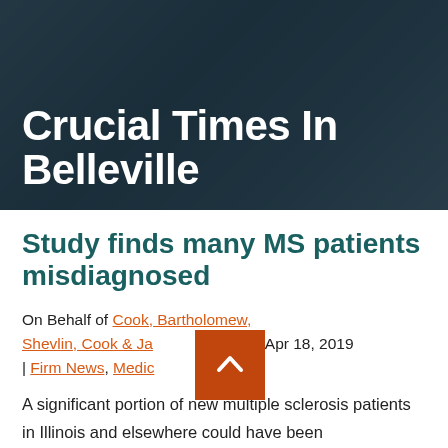Crucial Times In Belleville
Study finds many MS patients misdiagnosed
On Behalf of Cook, Bartholomew, Shevlin, Cook & Ja[cobson, L]P | Apr 18, 2019 | Firm News, Medic[al Mal]practice
A significant portion of new multiple sclerosis patients in Illinois and elsewhere could have been misdiagnosed, according to a recent study. The study was published in the